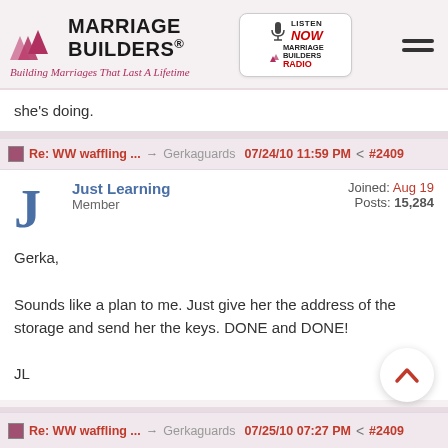[Figure (logo): Marriage Builders logo with red arrow icons, tagline 'Building Marriages That Last A Lifetime', and a Marriage Builders Radio listen now button]
she's doing.
Re: WW waffling ... → Gerkaguards 07/24/10 11:59 PM < #2409
Just Learning Member — Joined: Aug 19 Posts: 15,284
Gerka,

Sounds like a plan to me. Just give her the address of the storage and send her the keys. DONE and DONE!

JL
Re: WW waffling ... → Gerkaguards 07/25/10 07:27 PM < #2409